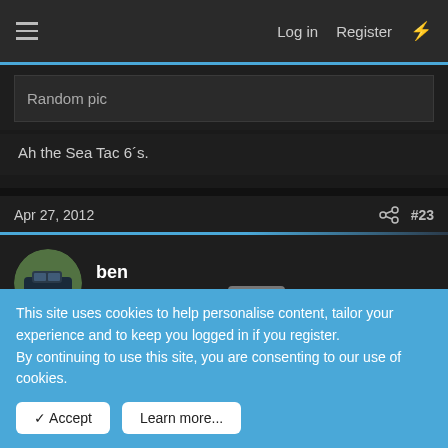Log in  Register
Random pic
Ah the Sea Tac 6´s.
Apr 27, 2012  #23
ben
Well-Known Member  Banned
thxs guys
This site uses cookies to help personalise content, tailor your experience and to keep you logged in if you register.
By continuing to use this site, you are consenting to our use of cookies.
Accept  Learn more...